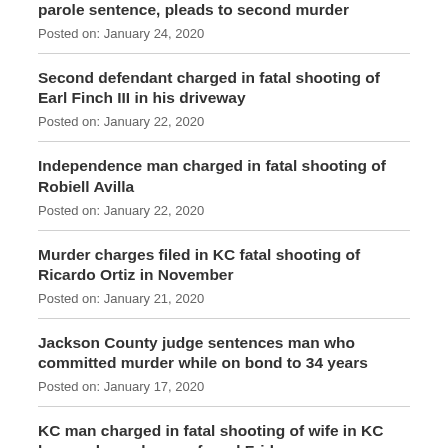parole sentence, pleads to second murder
Posted on: January 24, 2020
Second defendant charged in fatal shooting of Earl Finch III in his driveway
Posted on: January 22, 2020
Independence man charged in fatal shooting of Robiell Avilla
Posted on: January 22, 2020
Murder charges filed in KC fatal shooting of Ricardo Ortiz in November
Posted on: January 21, 2020
Jackson County judge sentences man who committed murder while on bond to 34 years
Posted on: January 17, 2020
KC man charged in fatal shooting of wife in KC home where she was found Friday